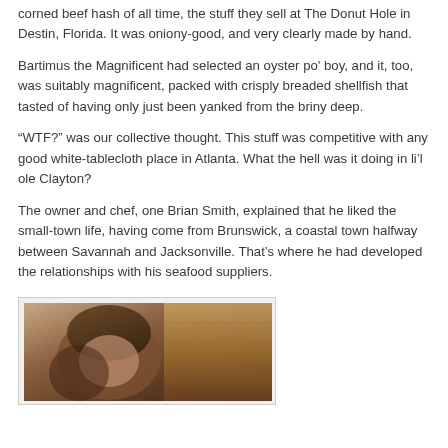corned beef hash of all time, the stuff they sell at The Donut Hole in Destin, Florida. It was oniony-good, and very clearly made by hand.
Bartimus the Magnificent had selected an oyster po' boy, and it, too, was suitably magnificent, packed with crisply breaded shellfish that tasted of having only just been yanked from the briny deep.
“WTF?” was our collective thought. This stuff was competitive with any good white-tablecloth place in Atlanta. What the hell was it doing in li’l ole Clayton?
The owner and chef, one Brian Smith, explained that he liked the small-town life, having come from Brunswick, a coastal town halfway between Savannah and Jacksonville. That’s where he had developed the relationships with his seafood suppliers.
[Figure (photo): A photograph of a person, partially visible, with warm wooden background tones.]